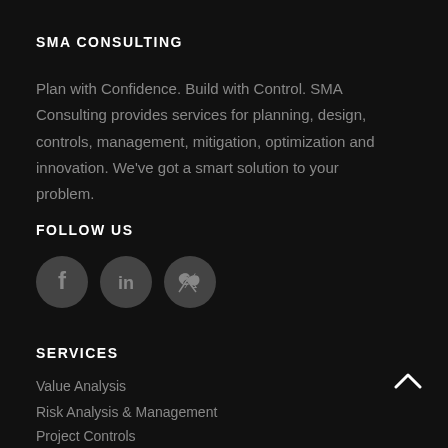SMA CONSULTING
Plan with Confidence. Build with Control. SMA Consulting provides services for planning, design, controls, management, mitigation, optimization and innovation. We've got a smart solution to your problem.
FOLLOW US
[Figure (illustration): Three circular social media icons for Facebook, LinkedIn, and Twitter on a dark background]
SERVICES
Value Analysis
Risk Analysis & Management
Project Controls